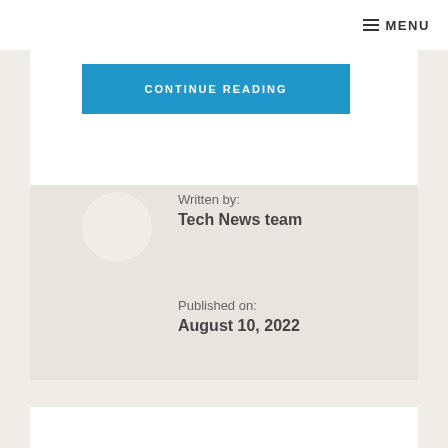☰ MENU
CONTINUE READING
Written by:
Tech News team

Published on:
August 10, 2022